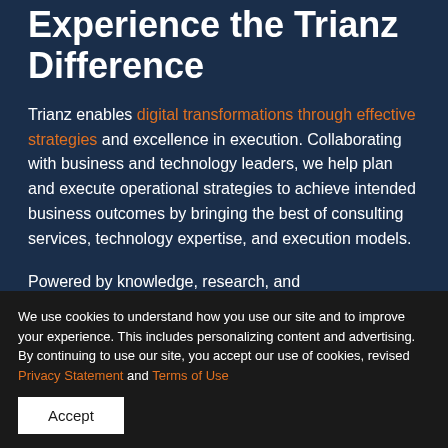Experience the Trianz Difference
Trianz enables digital transformations through effective strategies and excellence in execution. Collaborating with business and technology leaders, we help plan and execute operational strategies to achieve intended business outcomes by bringing the best of consulting services, technology expertise, and execution models.
Powered by knowledge, research, and
We use cookies to understand how you use our site and to improve your experience. This includes personalizing content and advertising. By continuing to use our site, you accept our use of cookies, revised Privacy Statement and Terms of Use
Accept